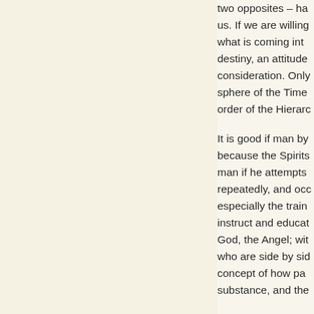two opposites – ha us. If we are willing what is coming int destiny, an attitude consideration. Only sphere of the Time order of the Hierarc
It is good if man by because the Spirits man if he attempts repeatedly, and occ especially the train instruct and educat God, the Angel; wit who are side by sid concept of how pa substance, and the